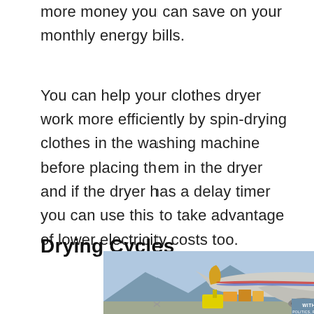more money you can save on your monthly energy bills.
You can help your clothes dryer work more efficiently by spin-drying clothes in the washing machine before placing them in the dryer and if the dryer has a delay timer you can use this to take advantage of lower electricity costs too.
Drying Cycles
[Figure (photo): Advertisement banner showing an airplane being loaded with cargo, with text overlay reading 'WITHOUT REGARD TO POLITICS, RELIGION OR ABILITY TO PAY']